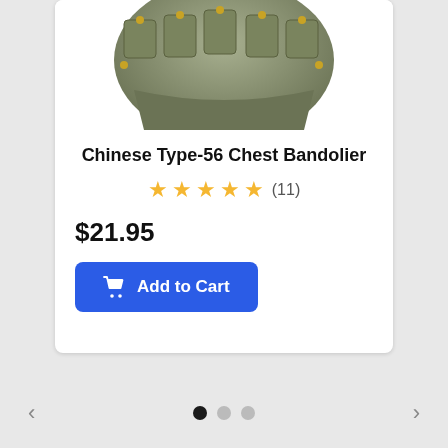[Figure (photo): Military olive green Chinese Type-56 Chest Bandolier vest/rig shown from above, partially cropped at top]
Chinese Type-56 Chest Bandolier
★★★★★ (11)
$21.95
Add to Cart